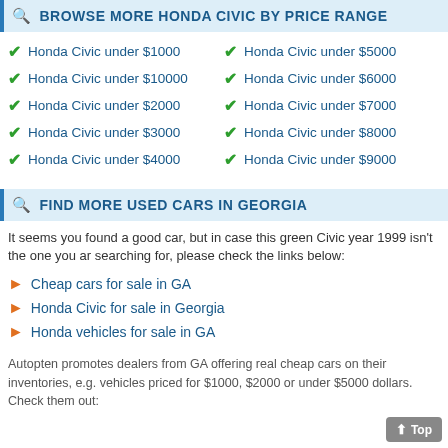BROWSE MORE HONDA CIVIC BY PRICE RANGE
Honda Civic under $1000
Honda Civic under $5000
Honda Civic under $10000
Honda Civic under $6000
Honda Civic under $2000
Honda Civic under $7000
Honda Civic under $3000
Honda Civic under $8000
Honda Civic under $4000
Honda Civic under $9000
FIND MORE USED CARS IN GEORGIA
It seems you found a good car, but in case this green Civic year 1999 isn't the one you are searching for, please check the links below:
Cheap cars for sale in GA
Honda Civic for sale in Georgia
Honda vehicles for sale in GA
Autopten promotes dealers from GA offering real cheap cars on their inventories, e.g. vehicles priced for $1000, $2000 or under $5000 dollars. Check them out: